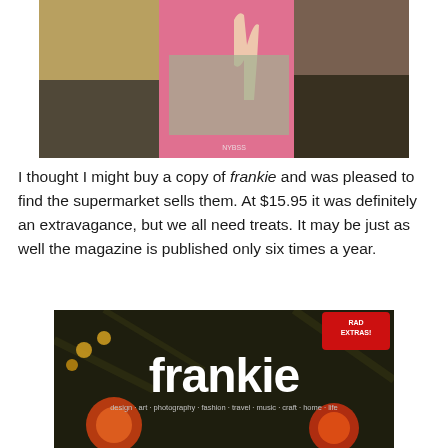[Figure (photo): Collage of magazine pages showing illustrated and photographic images including a woman in a yellow dress, a person lying down, a giraffe illustration on pink background, and a bird figure.]
I thought I might buy a copy of frankie and was pleased to find the supermarket sells them. At $15.95 it was definitely an extravagance, but we all need treats. It may be just as well the magazine is published only six times a year.
[Figure (photo): Cover of frankie magazine featuring bold white 'frankie' logo over a dark illustrated background with flowers, with red 'RAD EXTRAS!' badge in the top right corner and subtitle: design art photography fashion travel music craft home life.]